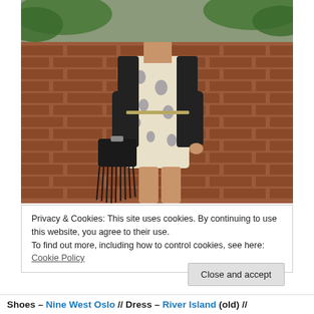[Figure (photo): A woman wearing a black jacket over a floral/printed dress, holding a black fringed handbag, standing in front of a brick wall with green foliage in the background.]
Privacy & Cookies: This site uses cookies. By continuing to use this website, you agree to their use.
To find out more, including how to control cookies, see here: Cookie Policy
Close and accept
Shoes – Nine West Oslo // Dress – River Island (old) //